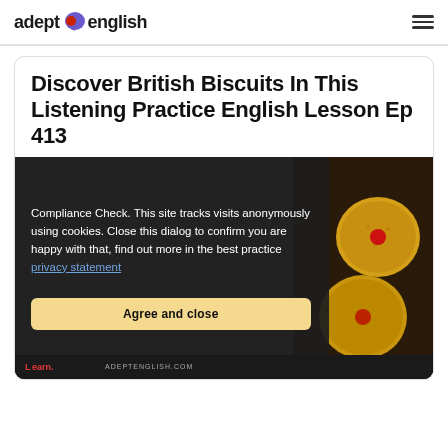adept english
Discover British Biscuits In This Listening Practice English Lesson Ep 413
Compliance Check. This site tracks visits anonymously using cookies. Close this dialog to confirm you are happy with that, find out more in the best practice privacy statement
Agree and close
[Figure (photo): Photo of British biscuits (yellow/golden round biscuits with red jam center) on a dark background, with 'adeptenglish.com' watermark partially visible at bottom]